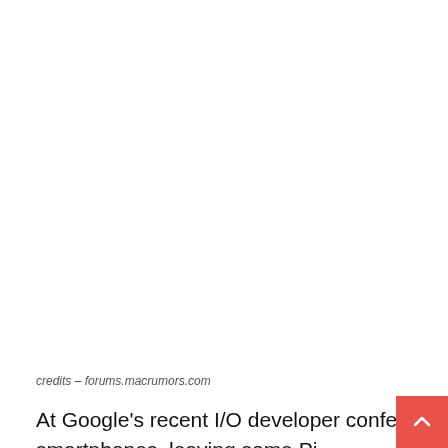[Figure (photo): Large image area occupying the top portion of the page, appears blank/white (image not loaded or cropped out)]
credits – forums.macrumors.com
At Google's recent I/O developer conference, the company didn't even discuss foldable smartphones, leaving some Pi